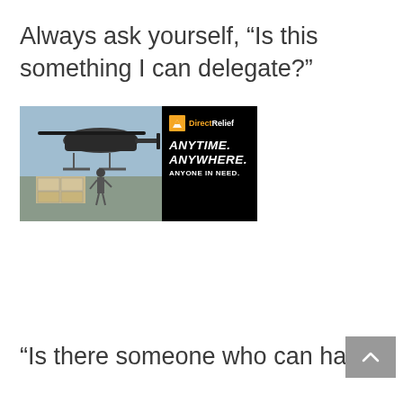Always ask yourself, “Is this something I can delegate?”
[Figure (photo): Advertisement banner for Direct Relief showing a military helicopter with cargo being loaded and the tagline ANYTIME. ANYWHERE. ANYONE IN NEED.]
“Is there someone who can handle this